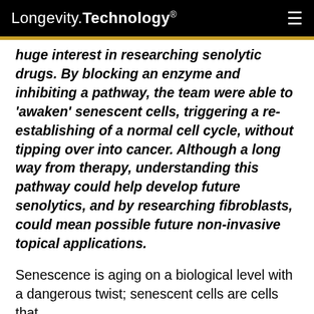Longevity.Technology®
huge interest in researching senolytic drugs. By blocking an enzyme and inhibiting a pathway, the team were able to 'awaken' senescent cells, triggering a re-establishing of a normal cell cycle, without tipping over into cancer. Although a long way from therapy, understanding this pathway could help develop future senolytics, and by researching fibroblasts, could mean possible future non-invasive topical applications.
Senescence is aging on a biological level with a dangerous twist; senescent cells are cells that th...